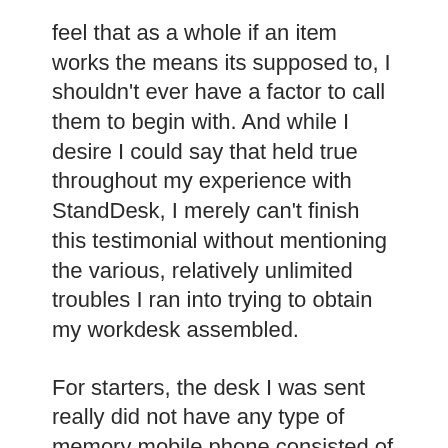feel that as a whole if an item works the means its supposed to, I shouldn't ever have a factor to call them to begin with. And while I desire I could say that held true throughout my experience with StandDesk, I merely can't finish this testimonial without mentioning the various, relatively unlimited troubles I ran into trying to obtain my workdesk assembled.
For starters, the desk I was sent really did not have any type of memory mobile phone consisted of originally, which meant I had no chance of in fact controlling the up/down feature on the desk itself. I called StandDesk concerning this problem, that returned to me around a day later with an apology and a pledge that a brand-new one would certainly